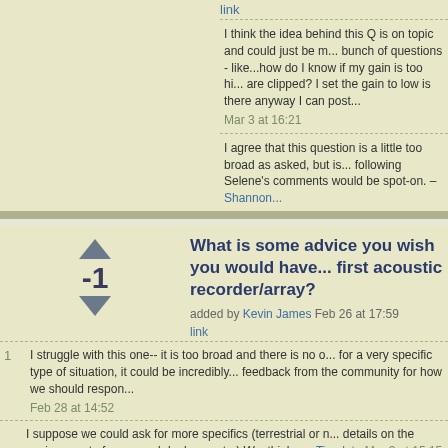link
I think the idea behind this Q is on topic and could just be m... bunch of questions - like...how do I know if my gain is too hi... are clipped? I set the gain to low is there anyway I can post... Mar 3 at 16:21
I agree that this question is a little too broad as asked, but is... following Selene's comments would be spot-on. – Shannon...
What is some advice you wish you would have... first acoustic recorder/array?
added by Kevin James Feb 26 at 17:59
link
1 I struggle with this one-- it is too broad and there is no o... for a very specific type of situation, it could be incredibly... feedback from the community for how we should respon... Feb 28 at 14:52
I suppose we could ask for more specifics (terrestrial or n... details on the environment of supposed deployment...) W... think... – Timelate Mar 3 at 15:15